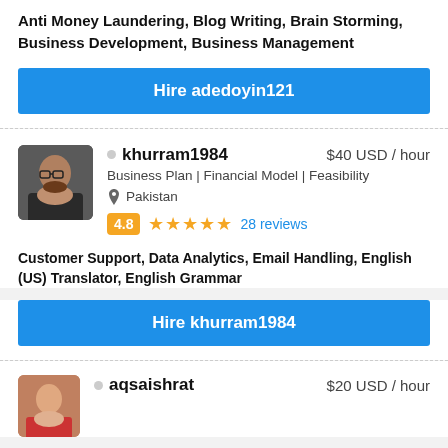Anti Money Laundering, Blog Writing, Brain Storming, Business Development, Business Management
Hire adedoyin121
khurram1984  $40 USD / hour
Business Plan | Financial Model | Feasibility
Pakistan
4.8  ★★★★★  28 reviews
Customer Support, Data Analytics, Email Handling, English (US) Translator, English Grammar
Hire khurram1984
aqsaishrat  $20 USD / hour